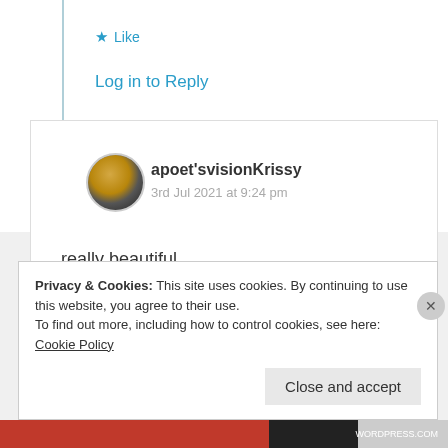★ Like
Log in to Reply
apoet'svisionKrissy
3rd Jul 2021 at 9:24 pm
really beautiful
★ Liked by 2 people
Privacy & Cookies: This site uses cookies. By continuing to use this website, you agree to their use.
To find out more, including how to control cookies, see here: Cookie Policy
Close and accept